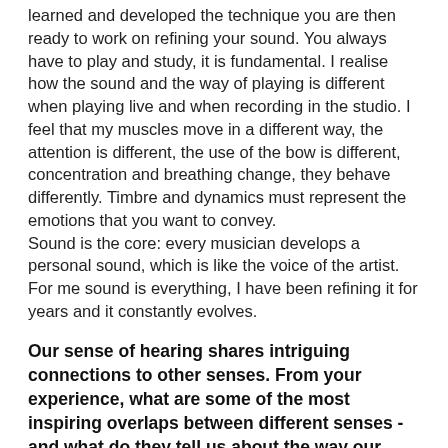learned and developed the technique you are then ready to work on refining your sound. You always have to play and study, it is fundamental. I realise how the sound and the way of playing is different when playing live and when recording in the studio. I feel that my muscles move in a different way, the attention is different, the use of the bow is different, concentration and breathing change, they behave differently. Timbre and dynamics must represent the emotions that you want to convey. Sound is the core: every musician develops a personal sound, which is like the voice of the artist. For me sound is everything, I have been refining it for years and it constantly evolves.
Our sense of hearing shares intriguing connections to other senses. From your experience, what are some of the most inspiring overlaps between different senses - and what do they tell us about the way our senses work? What happens to sound at its